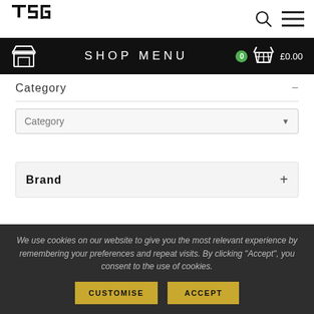[Figure (logo): TSG brand logo in black, geometric/angular style]
SHOP MENU  0  £0.00
Category  −
Category ▼
Brand  +
Sub... (partially visible)
We use cookies on our website to give you the most relevant experience by remembering your preferences and repeat visits. By clicking "Accept", you consent to the use of cookies.
CUSTOMISE  ACCEPT